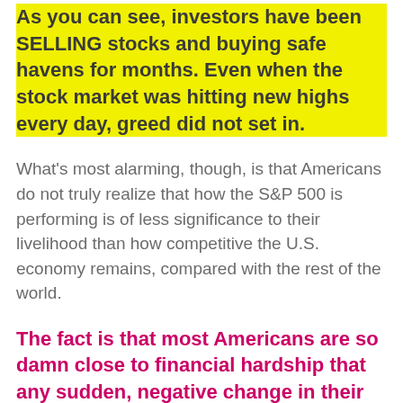As you can see, investors have been SELLING stocks and buying safe havens for months. Even when the stock market was hitting new highs every day, greed did not set in.
What's most alarming, though, is that Americans do not truly realize that how the S&P 500 is performing is of less significance to their livelihood than how competitive the U.S. economy remains, compared with the rest of the world.
The fact is that most Americans are so damn close to financial hardship that any sudden, negative change in their circumstances could be